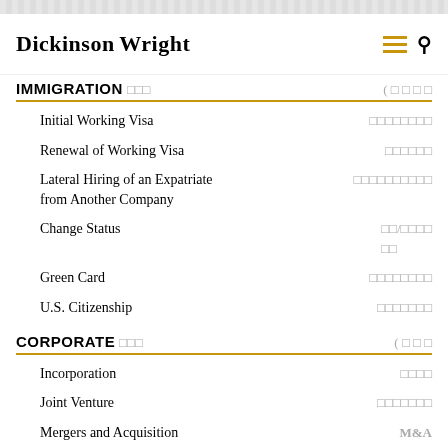Dickinson Wright — Immigration / Corporate navigation menu
IMMIGRATION
Initial Working Visa
Renewal of Working Visa
Lateral Hiring of an Expatriate from Another Company
Change Status
Green Card
U.S. Citizenship
CORPORATE
Incorporation
Joint Venture
Mergers and Acquisition — M&A
Business License in Other States
Shareholder and Board Resolution